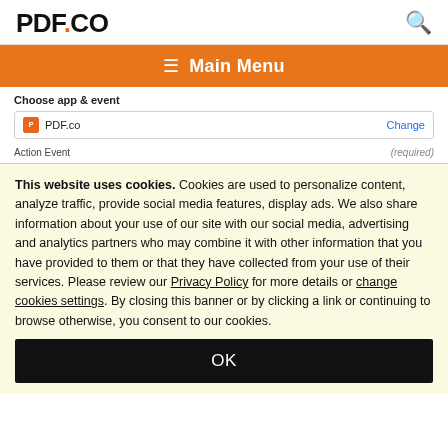PDF.CO
[Figure (screenshot): Orange navigation bar with hamburger menu icon and 'Main Menu' text on PDF.co website]
[Figure (screenshot): Partially visible UI showing 'Choose app & event' section with PDF.co app row and Change link, and Action Event row with Required label]
This website uses cookies. Cookies are used to personalize content, analyze traffic, provide social media features, display ads. We also share information about your use of our site with our social media, advertising and analytics partners who may combine it with other information that you have provided to them or that they have collected from your use of their services. Please review our Privacy Policy for more details or change cookies settings. By closing this banner or by clicking a link or continuing to browse otherwise, you consent to our cookies.
OK